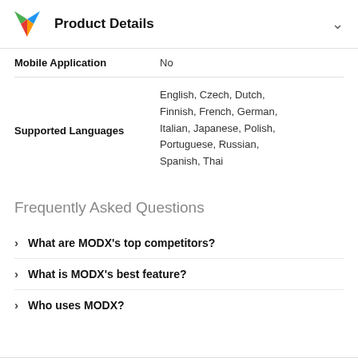Product Details
| Mobile Application | No |
| Supported Languages | English, Czech, Dutch, Finnish, French, German, Italian, Japanese, Polish, Portuguese, Russian, Spanish, Thai |
Frequently Asked Questions
What are MODX's top competitors?
What is MODX's best feature?
Who uses MODX?